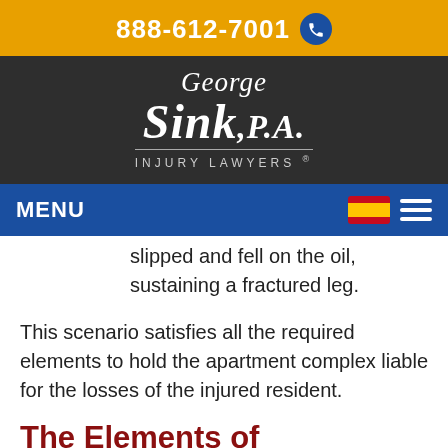888-612-7001
[Figure (logo): George Sink, P.A. Injury Lawyers logo in white text on dark background]
MENU
slipped and fell on the oil, sustaining a fractured leg.
This scenario satisfies all the required elements to hold the apartment complex liable for the losses of the injured resident.
The Elements of Negligence